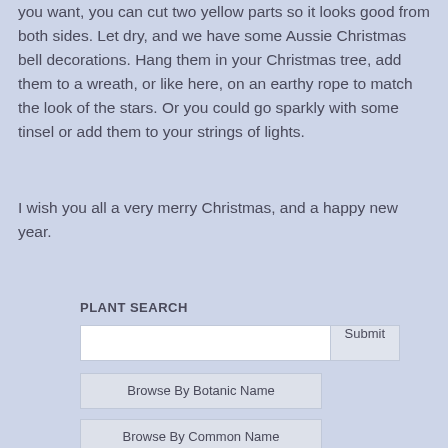you want, you can cut two yellow parts so it looks good from both sides. Let dry, and we have some Aussie Christmas bell decorations. Hang them in your Christmas tree, add them to a wreath, or like here, on an earthy rope to match the look of the stars. Or you could go sparkly with some tinsel or add them to your strings of lights.
I wish you all a very merry Christmas, and a happy new year.
PLANT SEARCH
[Figure (screenshot): Plant search widget with a text input field, Submit button, Browse By Botanic Name button, Browse By Common Name button, and Advanced Search button on a light blue-grey background.]